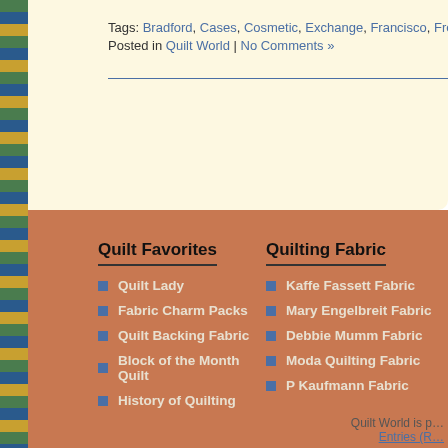Tags: Bradford, Cases, Cosmetic, Exchange, Francisco, Free, Giants, Match…
Posted in Quilt World | No Comments »
Quilt Favorites
Quilt Lady
Fabric Charm Packs
Quilt Backing Fabric
Block of the Month Quilt
History of Quilting
Quilting Fabric
Kaffe Fassett Fabric
Mary Engelbreit Fabric
Debbie Mumm Fabric
Moda Quilting Fabric
P Kaufmann Fabric
Quilt World is p… Entries (R…